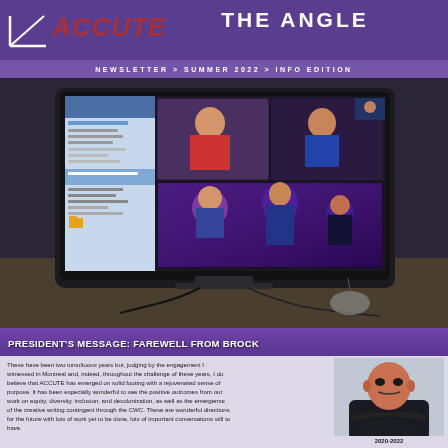THE ANGLE — ACCUTE Newsletter > Summer 2022 > Info Edition
[Figure (photo): Photo of an iMac computer on a desk showing a video conference call with multiple participants including people in a purple-lit room]
PRESIDENT'S MESSAGE: FAREWELL FROM BROCK
[Figure (photo): Photo of Gregory Betts, ACCUTE President 2020-2022, a bald man in a dark jacket with arms crossed]
These have been two tumultuous years but, judging by the engagement I witnessed in Montreal and, indeed, throughout the challenge of these years, I do believe that ACCUTE has emerged on solid footing with a rejuvenated sense of purpose. It has been especially wonderful to see the positive outcomes from our work on equity, diversity, inclusion, and decolonization, as well as the emergence of the creative writing contingent through the CWC. These are wonderful directions for the future with lots of work yet to be done, lots of important conversations still to have.
GREGORY BETTS, ACCUTE PRESIDENT 2020-2022